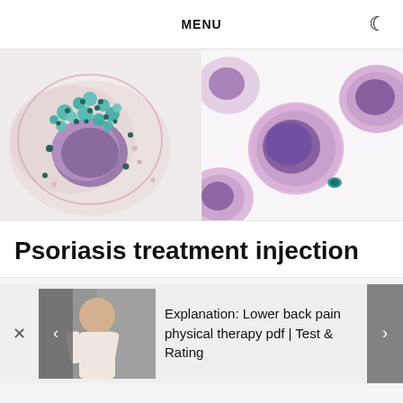MENU
[Figure (photo): Two microscopy images of cells side by side: left image shows a large cell with teal/green granules over a pink/purple nucleus on a light background; right image shows purple-stained cells (likely mast cells or plasma cells) on a white background.]
Psoriasis treatment injection
Explanation: Lower back pain physical therapy pdf | Test & Rating